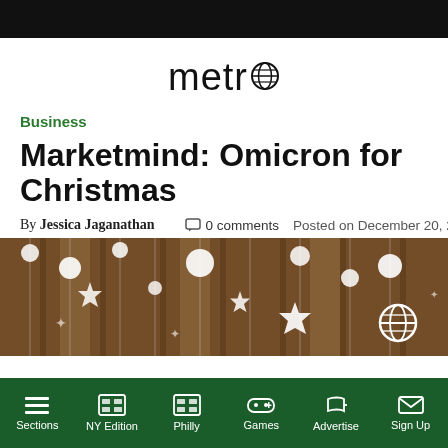metro
Business
Marketmind: Omicron for Christmas
By Jessica Jaganathan  0 comments  Posted on December 20, 2021
[Figure (photo): Christmas decorations including white paper stars, snowflakes, and round ornaments hanging in front of a store window]
Sections  NY Edition  Philly  Games  Advertise  Sign Up